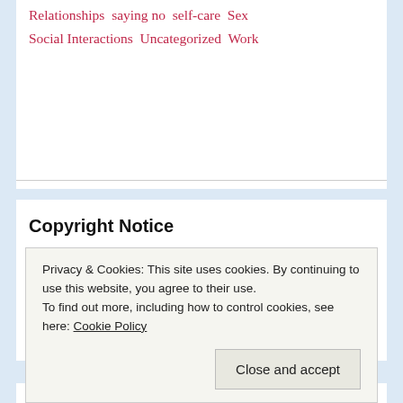Relationships  saying no  self-care  Sex  Social Interactions  Uncategorized  Work
Copyright Notice
Copyright © 2011 thru 2022 Jennifer Peepas, all rights reserved.
Brief excerpts (<250 words) may be shared with
Privacy & Cookies: This site uses cookies. By continuing to use this website, you agree to their use.
To find out more, including how to control cookies, see here: Cookie Policy
Close and accept
academic assigning my posts in your courses, I'd